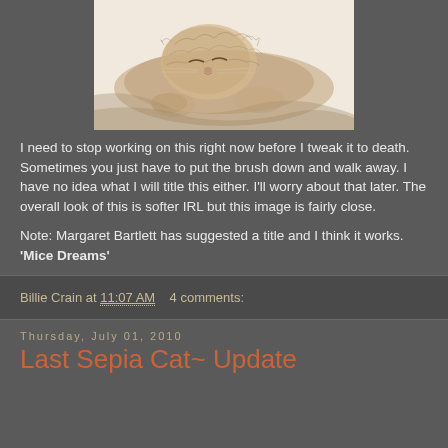[Figure (illustration): Sepia-toned watercolor/pencil illustration of a fluffy cat sleeping, eyes closed, resting on what appears to be soft fabric. Rendered in warm brown tones against white background.]
I need to stop working on this right now before I tweak it to death. Sometimes you just have to put the brush down and walk away. I have no idea what I will title this either. I'll worry about that later. The overall look of this is softer IRL but this image is fairly close.
Note: Margaret Bartlett has suggested a title and I think it works. 'Mice Dreams'
Billie Crain at 11:07 AM   4 comments:
Thursday, July 01, 2010
Last Sepia Cat~ Update